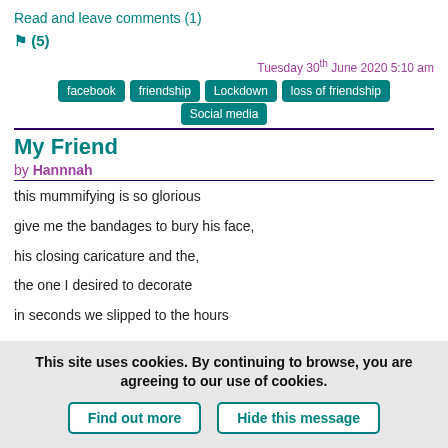Read and leave comments (1)
🔖 (5)
Tuesday 30th June 2020 5:10 am
facebook
friendship
Lockdown
loss of friendship
Social media
My Friend
by Hannnah
this mummifying is so glorious

give me the bandages to bury his face,

his closing caricature and the,

the one I desired to decorate

in seconds we slipped to the hours
This site uses cookies. By continuing to browse, you are agreeing to our use of cookies.
Find out more
Hide this message